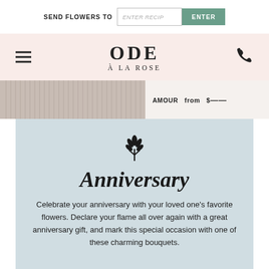SEND FLOWERS TO   ENTER RECIPIENT   ENTER
[Figure (logo): Ode à la Rose logo with hamburger menu and phone icon on pink background]
[Figure (photo): Partial product image strip showing AMOUR from $__ with vertical striped pattern]
Anniversary
Celebrate your anniversary with your loved one's favorite flowers. Declare your flame all over again with a great anniversary gift, and mark this special occasion with one of these charming bouquets.